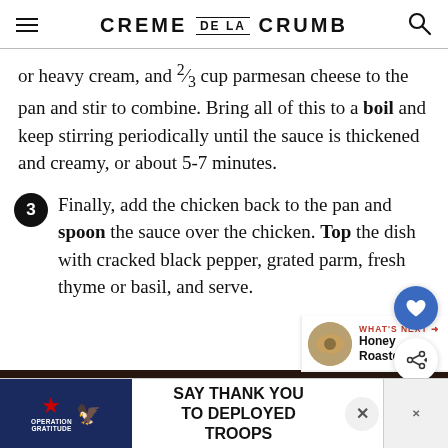CREME DE LA CRUMB
or heavy cream, and ⅔ cup parmesan cheese to the pan and stir to combine. Bring all of this to a boil and keep stirring periodically until the sauce is thickened and creamy, or about 5-7 minutes.
3. Finally, add the chicken back to the pan and spoon the sauce over the chicken. Top the dish with cracked black pepper, grated parm, fresh thyme or basil, and serve.
[Figure (photo): Dark food photo, partially visible, showing a dish being prepared in a pan.]
SAY THANK YOU TO DEPLOYED TROOPS